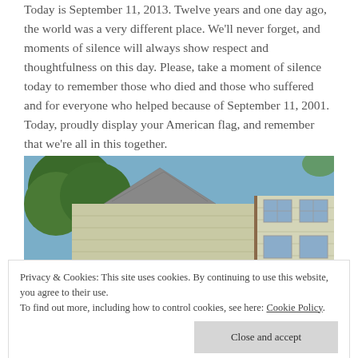Today is September 11, 2013. Twelve years and one day ago, the world was a very different place. We'll never forget, and moments of silence will always show respect and thoughtfulness on this day. Please, take a moment of silence today to remember those who died and those who suffered and for everyone who helped because of September 11, 2001. Today, proudly display your American flag, and remember that we're all in this together.
[Figure (photo): Photo of houses with siding and roofs visible against a blue sky with trees in the background]
Privacy & Cookies: This site uses cookies. By continuing to use this website, you agree to their use.
To find out more, including how to control cookies, see here: Cookie Policy
[Figure (photo): Partial photo at bottom showing what appears to be an American flag and outdoor scene]